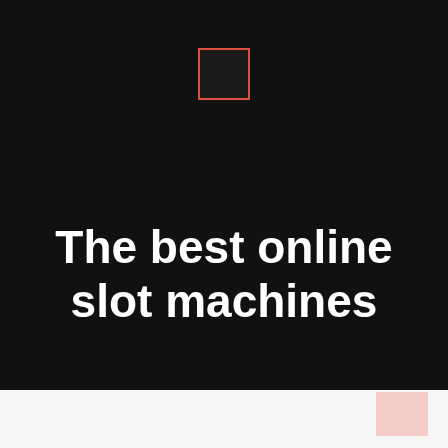[Figure (logo): Small dark square outlined in red/coral color, centered near top of dark background]
The best online slot machines